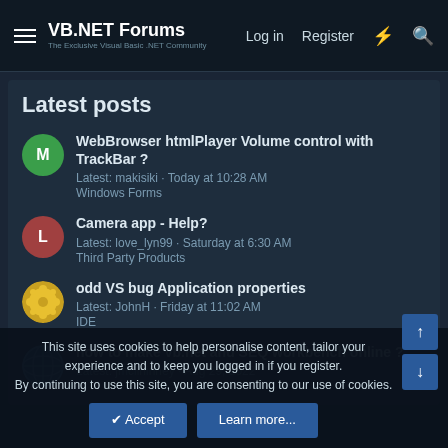VB.NET Forums — The Exclusive Visual Basic .NET Community | Log in | Register
Latest posts
WebBrowser htmlPlayer Volume control with TrackBar ? — Latest: makisiki · Today at 10:28 AM — Windows Forms
Camera app - Help? — Latest: love_lyn99 · Saturday at 6:30 AM — Third Party Products
odd VS bug Application properties — Latest: JohnH · Friday at 11:02 AM — IDE
how to make vb.net and SEQ workbench online ? — Latest: jmcilhinney · Aug 29, 2022
This site uses cookies to help personalise content, tailor your experience and to keep you logged in if you register. By continuing to use this site, you are consenting to our use of cookies.